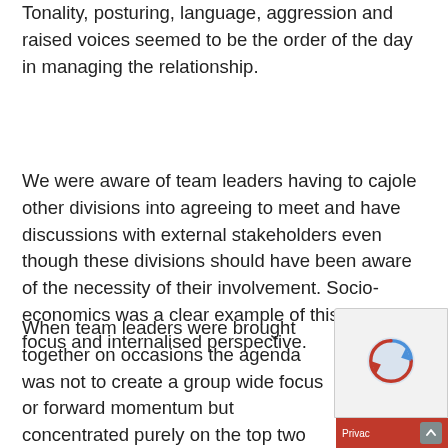Tonality, posturing, language, aggression and raised voices seemed to be the order of the day in managing the relationship.
We were aware of team leaders having to cajole other divisions into agreeing to meet and have discussions with external stakeholders even though these divisions should have been aware of the necessity of their involvement. Socio-economics was a clear example of this narrow focus and internalised perspective.
When team leaders were brought together on occasions the agenda was not to create a group wide focus or forward momentum but concentrated purely on the top two recent outp...